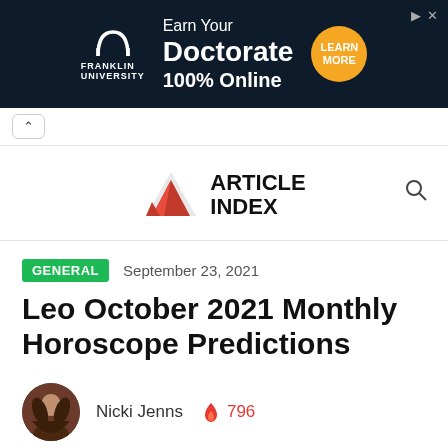[Figure (screenshot): Franklin University advertisement banner: dark navy background with Franklin University arch logo, text 'Earn Your Doctorate 100% Online' and orange circular 'LEARN MORE' button]
[Figure (logo): Article Index website logo: red triangle/A shape with bold text 'ARTICLE INDEX']
GENERAL   September 23, 2021
Leo October 2021 Monthly Horoscope Predictions
Nicki Jenns  🔥 796